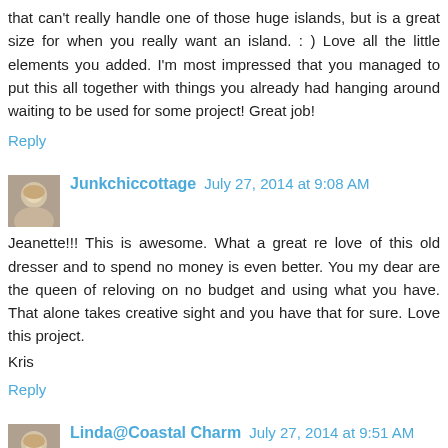that can't really handle one of those huge islands, but is a great size for when you really want an island. : ) Love all the little elements you added. I'm most impressed that you managed to put this all together with things you already had hanging around waiting to be used for some project! Great job!
Reply
Junkchiccottage  July 27, 2014 at 9:08 AM
Jeanette!!! This is awesome. What a great re love of this old dresser and to spend no money is even better. You my dear are the queen of reloving on no budget and using what you have. That alone takes creative sight and you have that for sure. Love this project.
Kris
Reply
Linda@Coastal Charm  July 27, 2014 at 9:51 AM
What a super cute makeover you did with this piece. LOVE